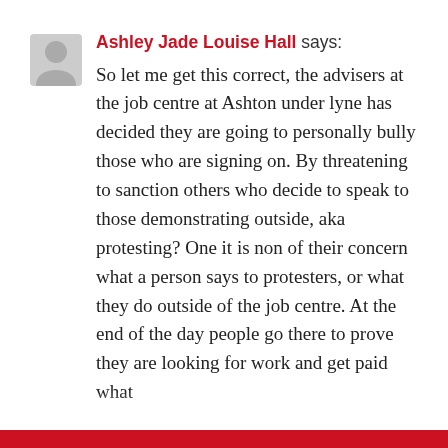Ashley Jade Louise Hall says: So let me get this correct, the advisers at the job centre at Ashton under lyne has decided they are going to personally bully those who are signing on. By threatening to sanction others who decide to speak to those demonstrating outside, aka protesting? One it is non of their concern what a person says to protesters, or what they do outside of the job centre. At the end of the day people go there to prove they are looking for work and get paid what...